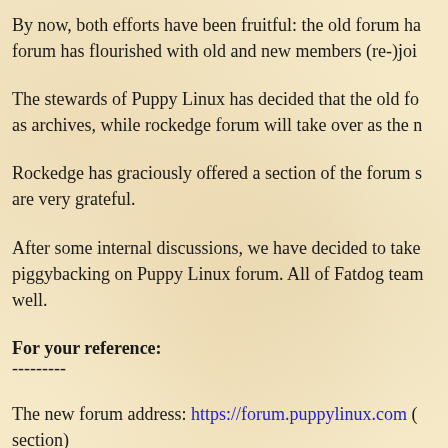By now, both efforts have been fruitful: the old forum ha... forum has flourished with old and new members (re-)joi...
The stewards of Puppy Linux has decided that the old fo... as archives, while rockedge forum will take over as the n...
Rockedge has graciously offered a section of the forum s... are very grateful.
After some internal discussions, we have decided to take... piggybacking on Puppy Linux forum. All of Fatdog team... well.
For your reference:
---------
The new forum address: https://forum.puppylinux.com (... section)
The old (archived) forum (in case you need to review/ch... Fatdogs): http://oldforum.puppylinux.com (Fatdog posts...